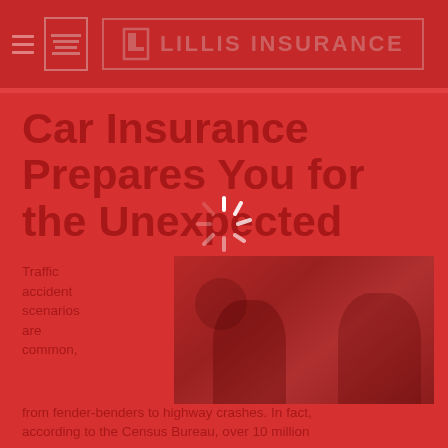LILLIS INSURANCE
Car Insurance Prepares You for the Unexpected
Traffic accident scenarios are common,
[Figure (photo): Photo of people involved in a car accident scenario, shown inside a vehicle, with a loading spinner overlay visible on the page]
from fender-benders to highway crashes. In fact, according to the Census Bureau, over 10 million